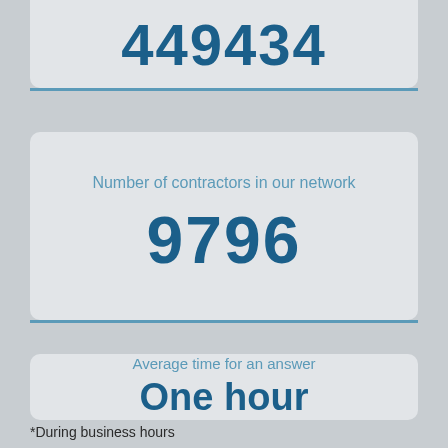449434
Number of contractors in our network
9796
Average time for an answer
One hour
*During business hours